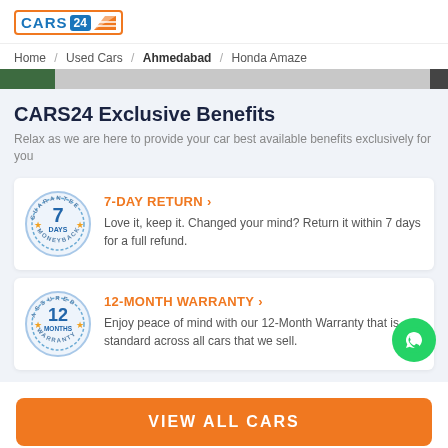[Figure (logo): CARS24 orange-bordered logo with blue text and orange diagonal stripe]
Home / Used Cars / Ahmedabad / Honda Amaze
CARS24 Exclusive Benefits
Relax as we are here to provide your car best available benefits exclusively for you
[Figure (illustration): 7-Day Guarantee Moneyback circular badge with star decorations]
7-DAY RETURN ›
Love it, keep it. Changed your mind? Return it within 7 days for a full refund.
[Figure (illustration): 12-Month Assured Warranty circular badge with star decorations]
12-MONTH WARRANTY ›
Enjoy peace of mind with our 12-Month Warranty that is standard across all cars that we sell.
VIEW ALL CARS